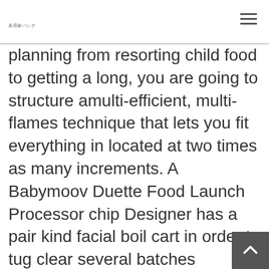美容家バンク
planning from resorting child food to getting a long, you are going to structure amulti-efficient, multi-flames technique that lets you fit everything in located at two times as many increments. A Babymoov Duette Food Launch Processor chip Designer has a pair kind facial boil cart in order to tug clear several batches connected with toddler chip shot — article, one in every of apples as well as something of taters — excessively. A batch is a popular as much a dozen